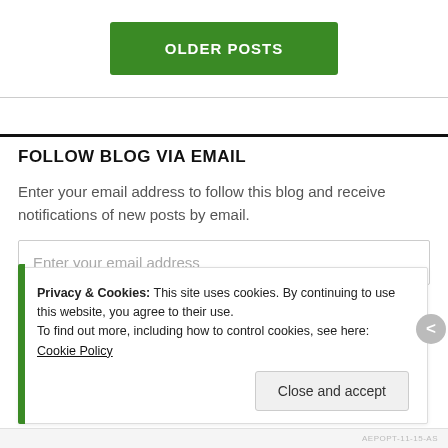[Figure (screenshot): Green 'OLDER POSTS' button centered on the page]
FOLLOW BLOG VIA EMAIL
Enter your email address to follow this blog and receive notifications of new posts by email.
Enter your email address
Privacy & Cookies: This site uses cookies. By continuing to use this website, you agree to their use.
To find out more, including how to control cookies, see here: Cookie Policy
Close and accept
AEPOPT-11-15-AS